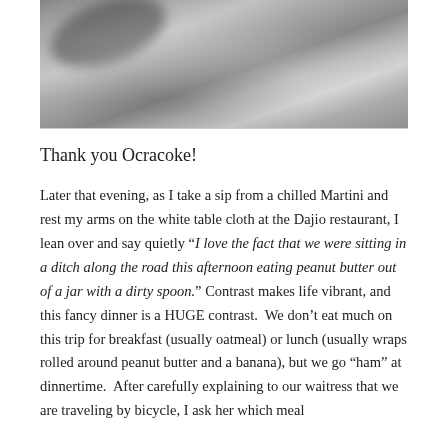[Figure (photo): Close-up photograph of a gravelly or sandy surface, partially cropped at top of page, showing textured gray granular material.]
Thank you Ocracoke!
Later that evening, as I take a sip from a chilled Martini and rest my arms on the white table cloth at the Dajio restaurant, I lean over and say quietly "I love the fact that we were sitting in a ditch along the road this afternoon eating peanut butter out of a jar with a dirty spoon." Contrast makes life vibrant, and this fancy dinner is a HUGE contrast.  We don't eat much on this trip for breakfast (usually oatmeal) or lunch (usually wraps rolled around peanut butter and a banana), but we go "ham" at dinnertime.  After carefully explaining to our waitress that we are traveling by bicycle, I ask her which meal